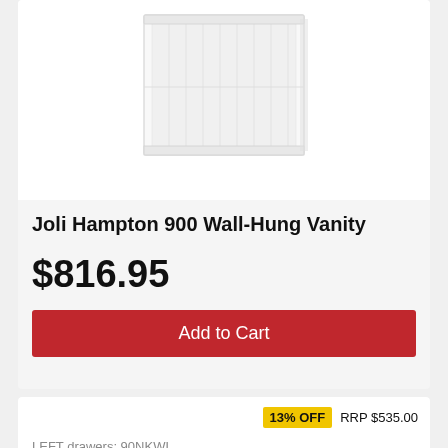[Figure (photo): White wall-hung vanity cabinet with beadboard panel detail, partially cropped at top]
Joli Hampton 900 Wall-Hung Vanity
$816.95
Add to Cart
13% OFF  RRP $535.00
LEFT drawers: 90NKWL
RIGHT drawers: 90NKWR
[Figure (photo): White bathroom vanity unit with drawers, partially cropped at bottom]